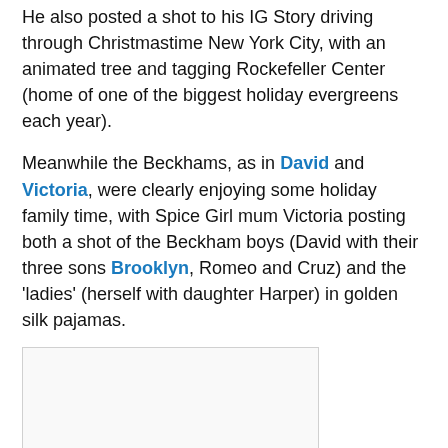He also posted a shot to his IG Story driving through Christmastime New York City, with an animated tree and tagging Rockefeller Center (home of one of the biggest holiday evergreens each year).
Meanwhile the Beckhams, as in David and Victoria, were clearly enjoying some holiday family time, with Spice Girl mum Victoria posting both a shot of the Beckham boys (David with their three sons Brooklyn, Romeo and Cruz) and the 'ladies' (herself with daughter Harper) in golden silk pajamas.
[Figure (photo): An image placeholder with a light gray background and thin border, partially visible at the bottom of the page.]